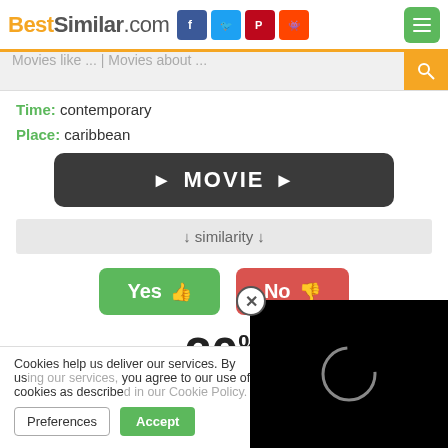BestSimilar.com
Movies like ... | Movies about ...
Time: contemporary
Place: caribbean
[Figure (other): Dark rounded button with play icons and text MOVIE]
↓ similarity ↓
Yes 👍  No 👎
20%
Cookies help us deliver our services. By using our services, you agree to our use of cookies as described in our Cookie Policy.
[Figure (other): Black video player overlay with loading spinner circle and close button]